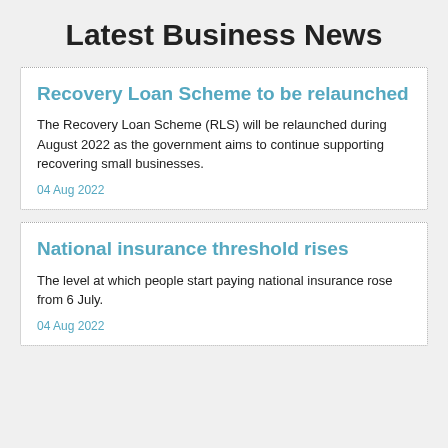Latest Business News
Recovery Loan Scheme to be relaunched
The Recovery Loan Scheme (RLS) will be relaunched during August 2022 as the government aims to continue supporting recovering small businesses.
04 Aug 2022
National insurance threshold rises
The level at which people start paying national insurance rose from 6 July.
04 Aug 2022